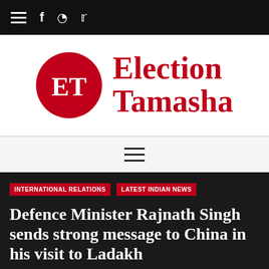Navigation bar with hamburger menu, Facebook, Instagram, Twitter icons
[Figure (logo): Election Tamasha logo: red circle with white ET letters and red text 'Election Tamasha' to the right]
Hamburger menu icon
INTERNATIONAL RELATIONS   LATEST INDIAN NEWS
Defence Minister Rajnath Singh sends strong message to China in his visit to Ladakh